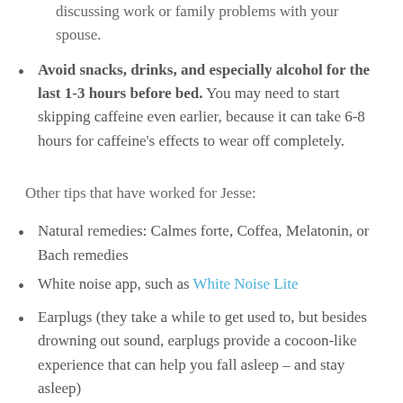discussing work or family problems with your spouse.
Avoid snacks, drinks, and especially alcohol for the last 1-3 hours before bed. You may need to start skipping caffeine even earlier, because it can take 6-8 hours for caffeine's effects to wear off completely.
Other tips that have worked for Jesse:
Natural remedies: Calmes forte, Coffea, Melatonin, or Bach remedies
White noise app, such as White Noise Lite
Earplugs (they take a while to get used to, but besides drowning out sound, earplugs provide a cocoon-like experience that can help you fall asleep – and stay asleep)
Go to bed on empty stomach, but not too empty